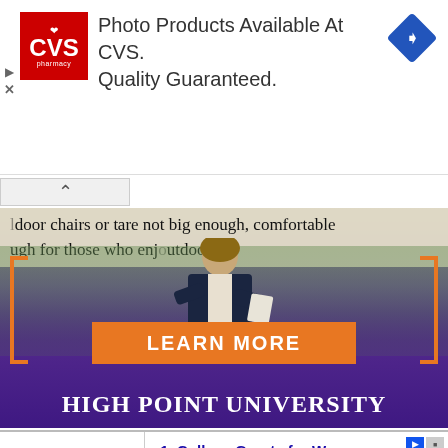[Figure (screenshot): CVS Pharmacy advertisement banner with red CVS logo, text 'Photo Products Available At CVS. Quality Guaranteed.' and blue navigation diamond icon]
[Figure (photo): University advertisement showing a young man in a blazer presenting/speaking in front of a landscape backdrop with text overlay about outdoor chairs. Orange bracket decorations on sides. Orange 'LEARN MORE' button. Purple background with 'HIGH POINT UNIVERSITY' text in white.]
Search for
1. College Grants for Women
2. Apply for Financial Aid